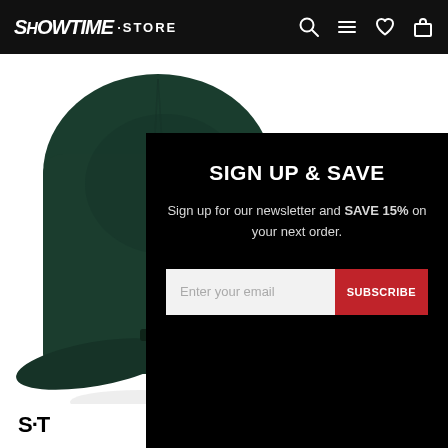SHOWTIME STORE
[Figure (photo): Dark green baseball cap product photo on white background, viewed from the back]
SIGN UP & SAVE
Sign up for our newsletter and SAVE 15% on your next order.